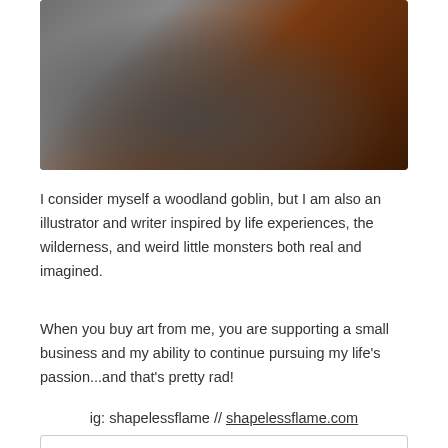[Figure (photo): Person with arms crossed wearing a grey hoodie, autumn foliage in the background with orange and red tones]
I consider myself a woodland goblin, but I am also an illustrator and writer inspired by life experiences, the wilderness, and weird little monsters both real and imagined.
When you buy art from me, you are supporting a small business and my ability to continue pursuing my life's passion...and that's pretty rad!
ig: shapelessflame // shapelessflame.com
Featured